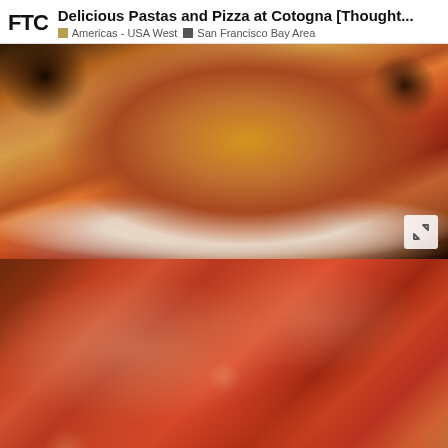FTC Delicious Pastas and Pizza at Cotogna [Thought... Americas - USA West San Francisco Bay Area
[Figure (photo): Top-down view of a Neapolitan-style pizza on a white plate, with charred crust edges, tomato sauce and golden toppings, on a wooden surface. Expand icon in bottom-right corner.]
[Figure (photo): Close-up of a flatbread or pizza with heavy red tomato sauce and mozzarella cheese, with herbs/black pepper sprinkled on top. Page counter '1 / 24' in bottom-right corner.]